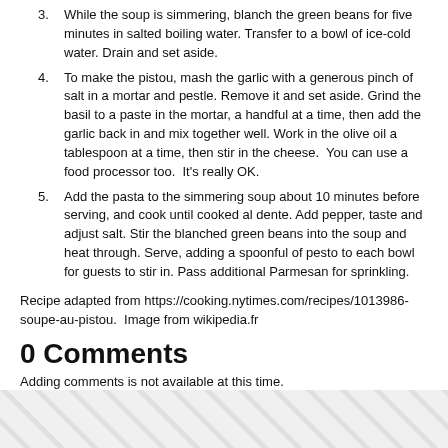3. While the soup is simmering, blanch the green beans for five minutes in salted boiling water. Transfer to a bowl of ice-cold water. Drain and set aside.
4. To make the pistou, mash the garlic with a generous pinch of salt in a mortar and pestle. Remove it and set aside. Grind the basil to a paste in the mortar, a handful at a time, then add the garlic back in and mix together well. Work in the olive oil a tablespoon at a time, then stir in the cheese.  You can use a food processor too.  It's really OK.
5. Add the pasta to the simmering soup about 10 minutes before serving, and cook until cooked al dente. Add pepper, taste and adjust salt. Stir the blanched green beans into the soup and heat through. Serve, adding a spoonful of pesto to each bowl for guests to stir in. Pass additional Parmesan for sprinkling.
Recipe adapted from https://cooking.nytimes.com/recipes/1013986-soupe-au-pistou.  Image from wikipedia.fr
0 Comments
Adding comments is not available at this time.